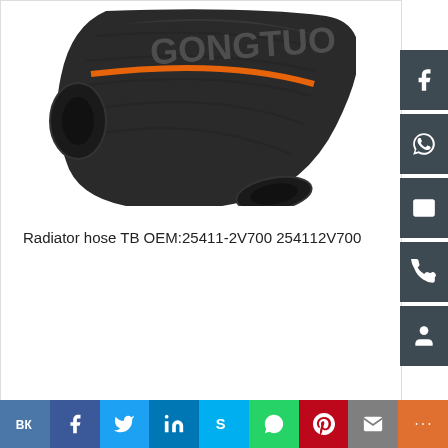[Figure (photo): Black rubber radiator hose with orange stripe and GONGTUO branding text visible, bent elbow shape]
Radiator hose TB OEM:25411-2V700 254112V700